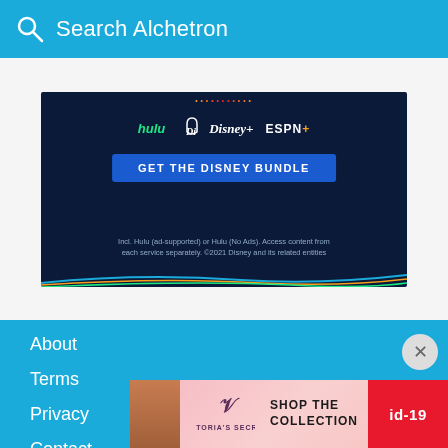Search Alchetron
[Figure (screenshot): Disney Bundle advertisement showing Hulu, Disney+, and ESPN+ logos with 'GET THE DISNEY BUNDLE' button and fine print text about Hulu ad-supported or Hulu No Ads options. ©2021 Disney and its related entities.]
About
Terms
Privacy
Contact
Alcheti…
[Figure (screenshot): Victoria's Secret advertisement showing a woman with the text 'SHOP THE COLLECTION' and a 'SHOP NOW' button on a pink background.]
id-19